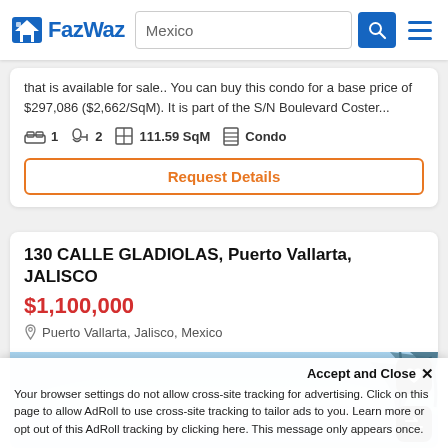FazWaz — Mexico search bar
that is available for sale.. You can buy this condo for a base price of $297,086 ($2,662/SqM). It is part of the S/N Boulevard Coster...
1 bed | 2 bath | 111.59 SqM | Condo
Request Details
130 CALLE GLADIOLAS, Puerto Vallarta, JALISCO
$1,100,000
Puerto Vallarta, Jalisco, Mexico
[Figure (photo): Property listing photo showing blue sky and palm trees]
Accept and Close ✕
Your browser settings do not allow cross-site tracking for advertising. Click on this page to allow AdRoll to use cross-site tracking to tailor ads to you. Learn more or opt out of this AdRoll tracking by clicking here. This message only appears once.